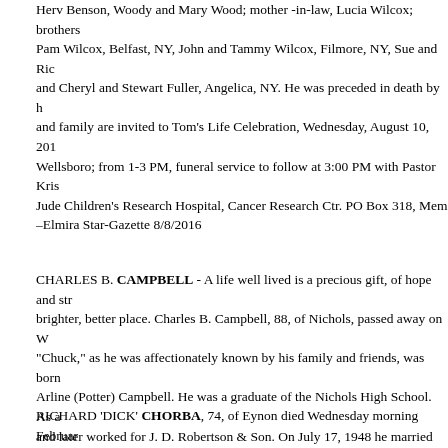Herv Benson, Woody and Mary Wood; mother-in-law, Lucia Wilcox; brothers Pam Wilcox, Belfast, NY, John and Tammy Wilcox, Filmore, NY, Sue and Ric and Cheryl and Stewart Fuller, Angelica, NY. He was preceded in death by h and family are invited to Tom's Life Celebration, Wednesday, August 10, 201 Wellsboro; from 1-3 PM, funeral service to follow at 3:00 PM with Pastor Kris Jude Children's Research Hospital, Cancer Research Ctr. PO Box 318, Mem –Elmira Star-Gazette 8/8/2016
CHARLES B. CAMPBELL - A life well lived is a precious gift, of hope and str brighter, better place. Charles B. Campbell, 88, of Nichols, passed away on W "Chuck," as he was affectionately known by his family and friends, was born Arline (Potter) Campbell. He was a graduate of the Nichols High School. As a and later worked for J. D. Robertson & Son. On July 17, 1948 he married Pri until her passing on Sept. 13, 2014. Together in 1951, he and Priscilla began owned and operated the family dairy farm in Nichols, which is still operated b Deere equipment. He was a 63-year member of the New York State Holstein Corn Growers, and National Corn Growers Association. A social member of t a member of the Owego Loyal Order of Moose. Chuck will be greatly missed (Dale) Lang of Auburn, N.Y., Paul (Carol Petty) Campbell of Nichols; his gran Fitzpatrick, Scott Shirley and Janette Mahunik; 10 great-grandchildren and h Priscilla and a sister Norma. Abiding with his wishes, services will be held at consider a memorial contribution to the Nichols Emergency Squad or the Nic Caring assistance is being provided by the Cooley Family of the Sutfin Fune 7/16/2016
RICHARD 'DICK' CHORBA, 74, of Eynon died Wednesday morning Februar former Carlene "Bunny" Vioncek. Born in Throop, he was the son of the late